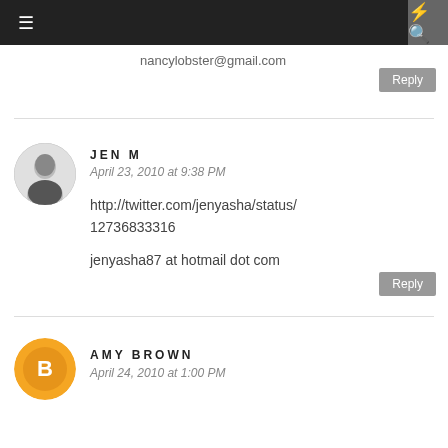Navigation bar with hamburger menu and search icon
nancylobster@gmail.com
Reply
JEN M
April 23, 2010 at 9:38 PM
http://twitter.com/jenyasha/status/
12736833316
jenyasha87 at hotmail dot com
Reply
AMY BROWN
April 24, 2010 at 1:00 PM